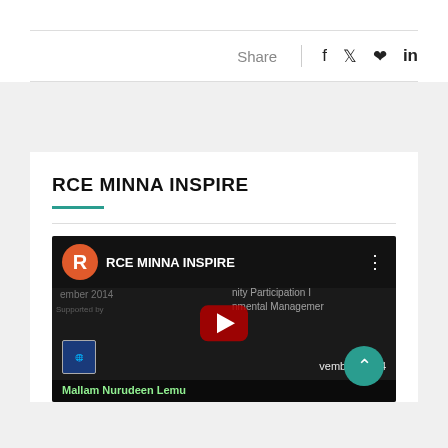Share  f  🐦  🔗  in
RCE MINNA INSPIRE
[Figure (screenshot): YouTube video thumbnail showing RCE MINNA INSPIRE channel with a red play button overlay, text referencing 'Community Participation' and 'Environmental Management', dated November 2014, with speaker Mallam Nurudeen Lemu]